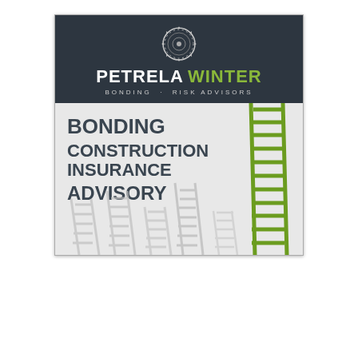[Figure (logo): Petrela Winter Bonding Risk Advisors logo with gear/cog ring emblem, company name in white and green on dark background, tagline BONDING · RISK ADVISORS]
BONDING
CONSTRUCTION INSURANCE
ADVISORY
[Figure (illustration): Multiple ladders arranged in the background in grey/silver tones with one prominent green ladder standing tall on the right side, symbolizing standing out from the crowd.]